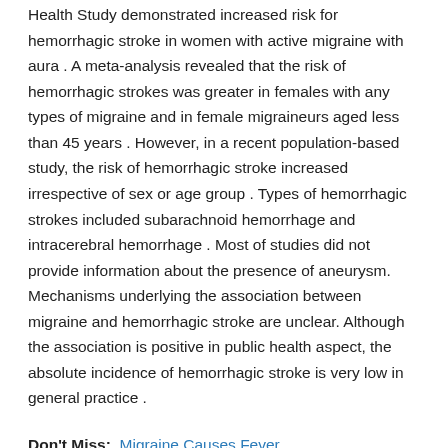Health Study demonstrated increased risk for hemorrhagic stroke in women with active migraine with aura . A meta-analysis revealed that the risk of hemorrhagic strokes was greater in females with any types of migraine and in female migraineurs aged less than 45 years . However, in a recent population-based study, the risk of hemorrhagic stroke increased irrespective of sex or age group . Types of hemorrhagic strokes included subarachnoid hemorrhage and intracerebral hemorrhage . Most of studies did not provide information about the presence of aneurysm. Mechanisms underlying the association between migraine and hemorrhagic stroke are unclear. Although the association is positive in public health aspect, the absolute incidence of hemorrhagic stroke is very low in general practice .
Don't Miss: Migraine Causes Fever
Is It A Migraine Or Another Type